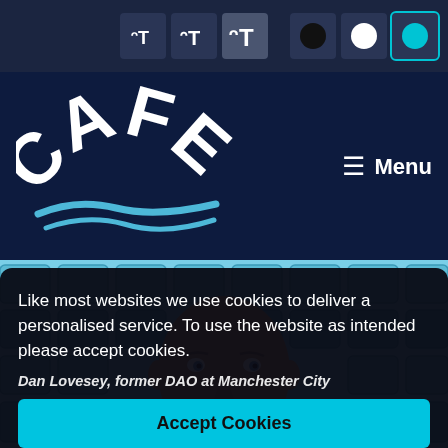[Figure (screenshot): Accessibility toolbar with text size buttons (small, medium, large T icons) and color theme buttons (black circle, white circle, teal circle) on dark navy background]
[Figure (logo): CAFE logo in white bold arched text with two blue wave lines beneath, on dark navy background]
≡ Menu
[Figure (photo): A bald man with stubble looking at camera, seated in front of light blue stadium seats]
Like most websites we use cookies to deliver a personalised service. To use the website as intended please accept cookies.
Dan Lovesey, former DAO at Manchester City
Accept Cookies